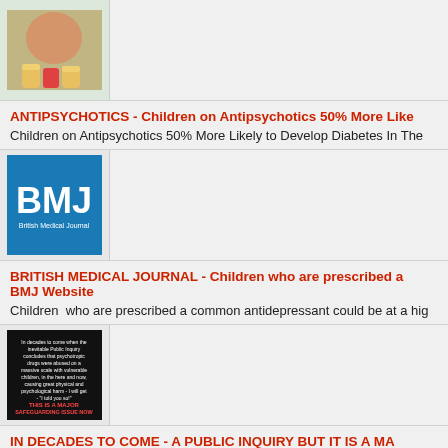[Figure (photo): Photo of a person with pill bottles]
ANTIPSYCHOTICS - Children on Antipsychotics 50% More Lik...
Children on Antipsychotics 50% More Likely to Develop Diabetes In The...
[Figure (logo): BMJ British Medical Journal logo - blue square with white BMJ text]
BRITISH MEDICAL JOURNAL - Children who are prescribed a... BMJ Website
Children who are prescribed a common antidepressant could be at a hig...
[Figure (photo): Dark image with text about public inquiry and safeguarding issue]
IN DECADES TO COME - A PUBLIC INQUIRY BUT IT IS A MA...